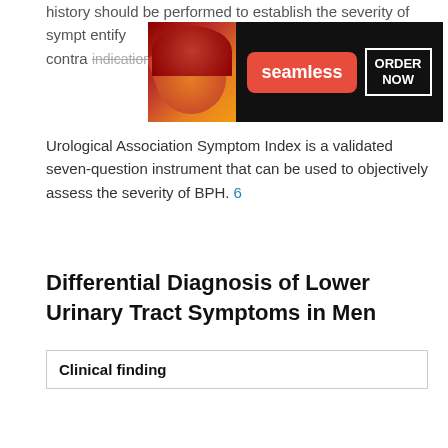history should be performed to establish the severity of symptoms, ... identify contraindications to potential therapies. The American Urological Association Symptom Index is a validated seven-question instrument that can be used to objectively assess the severity of BPH. 6
[Figure (screenshot): Seamless food delivery advertisement banner with pizza image, red Seamless logo button, and ORDER NOW button]
Differential Diagnosis of Lower Urinary Tract Symptoms in Men
| Clinical finding |
| --- |
Differential Diagnosis of Lower Urinary Tract Symptoms in Men
| Clinical finding |
| --- |
[Figure (screenshot): ULTA beauty advertisement banner with makeup images and SHOP NOW button]
Amer...